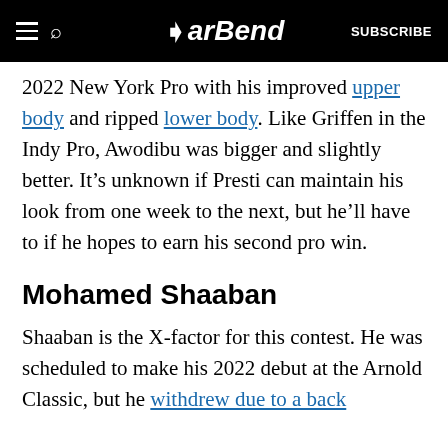BarBend — SUBSCRIBE
2022 New York Pro with his improved upper body and ripped lower body. Like Griffen in the Indy Pro, Awodibu was bigger and slightly better. It’s unknown if Presti can maintain his look from one week to the next, but he’ll have to if he hopes to earn his second pro win.
Mohamed Shaaban
Shaaban is the X-factor for this contest. He was scheduled to make his 2022 debut at the Arnold Classic, but he withdrew due to a back